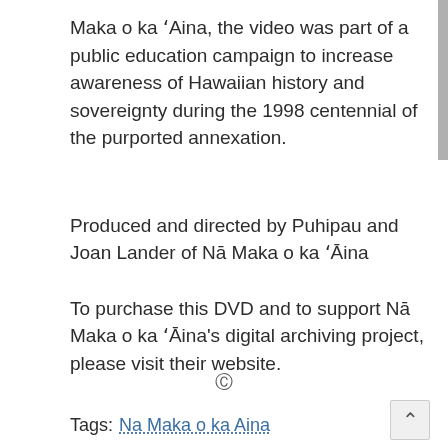Maka o ka ʻAina, the video was part of a public education campaign to increase awareness of Hawaiian history and sovereignty during the 1998 centennial of the purported annexation.
Produced and directed by Puhipau and Joan Lander of Nā Maka o ka ʻĀina
To purchase this DVD and to support Nā Maka o ka ʻĀina’s digital archiving project, please visit their website.
©
Tags:  Na Maka o ka Aina